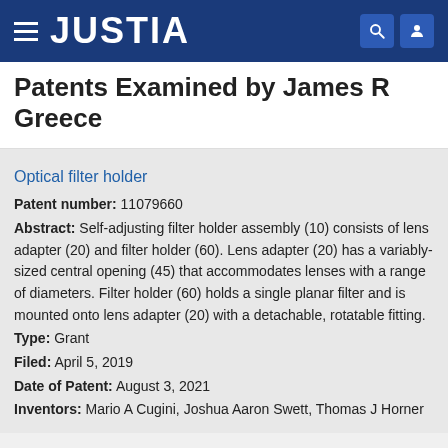JUSTIA
Patents Examined by James R Greece
Optical filter holder
Patent number: 11079660
Abstract: Self-adjusting filter holder assembly (10) consists of lens adapter (20) and filter holder (60). Lens adapter (20) has a variably-sized central opening (45) that accommodates lenses with a range of diameters. Filter holder (60) holds a single planar filter and is mounted onto lens adapter (20) with a detachable, rotatable fitting.
Type: Grant
Filed: April 5, 2019
Date of Patent: August 3, 2021
Inventors: Mario A Cugini, Joshua Aaron Swett, Thomas J Horner